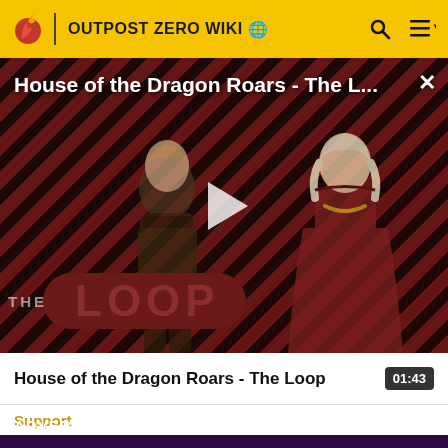OUTPOST ZERO WIKI
[Figure (screenshot): Video thumbnail showing two characters from House of the Dragon over a diagonal red and black stripe background with THE LOOP branding overlay and a white play button in the center. Title text reads 'House of the Dragon Roars - The L...' at top.]
House of the Dragon Roars - The Loop
01:43
Support
ADVERTISE